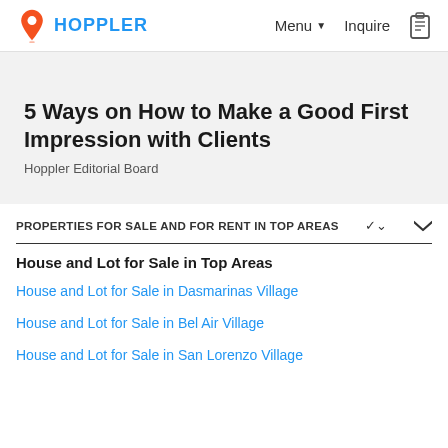HOPPLER | Menu | Inquire
5 Ways on How to Make a Good First Impression with Clients
Hoppler Editorial Board
PROPERTIES FOR SALE AND FOR RENT IN TOP AREAS
House and Lot for Sale in Top Areas
House and Lot for Sale in Dasmarinas Village
House and Lot for Sale in Bel Air Village
House and Lot for Sale in San Lorenzo Village